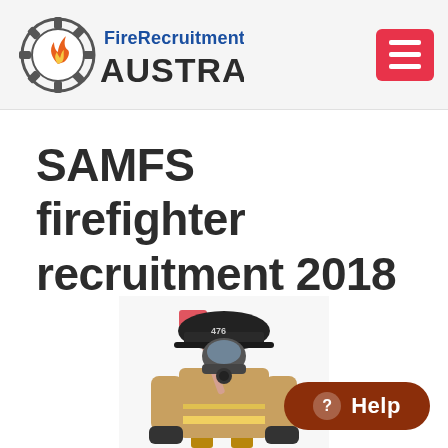FireRecruitment AUSTRALIA
SAMFS firefighter recruitment 2018
[Figure (photo): A firefighter in full gear including helmet numbered 476, breathing apparatus/mask, and protective jacket, holding an axe with a red handle, photographed against a white background.]
Help